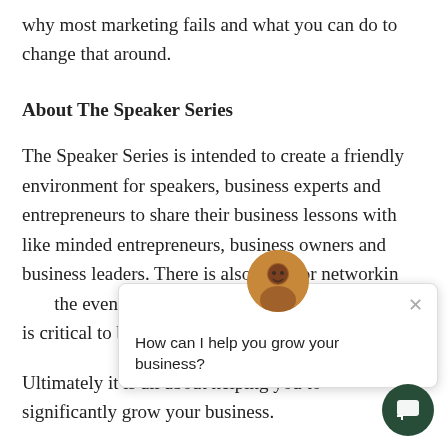why most marketing fails and what you can do to change that around.
About The Speaker Series
The Speaker Series is intended to create a friendly environment for speakers, business experts and entrepreneurs to share their business lessons with like minded entrepreneurs, business owners and business leaders. There is also time for networking... the event as build... friendships is critical to business success.
Ultimately it is all about helping you to significantly grow your business.